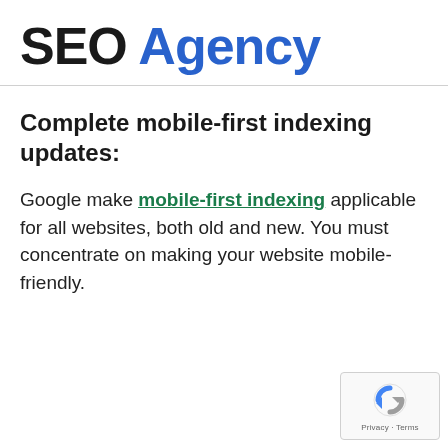SEO Agency
Complete mobile-first indexing updates:
Google make mobile-first indexing applicable for all websites, both old and new. You must concentrate on making your website mobile-friendly.
[Figure (logo): reCAPTCHA badge with Privacy and Terms text]